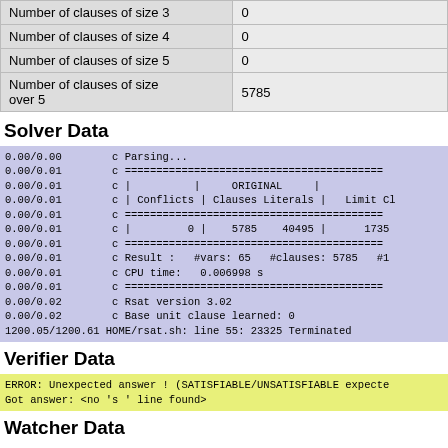| Number of clauses of size 3 | 0 |
| Number of clauses of size 4 | 0 |
| Number of clauses of size 5 | 0 |
| Number of clauses of size over 5 | 5785 |
Solver Data
0.00/0.00        c Parsing...
0.00/0.01        c =====================================
0.00/0.01        c |          |     ORIGINAL     |
0.00/0.01        c | Conflicts | Clauses Literals |     Limit Cl
0.00/0.01        c =====================================
0.00/0.01        c |         0 |    5785    40495 |       1735
0.00/0.01        c =====================================
0.00/0.01        c Result :   #vars: 65   #clauses: 5785   #1
0.00/0.01        c CPU time:   0.006998 s
0.00/0.01        c =====================================
0.00/0.02        c Rsat version 3.02
0.00/0.02        c Base unit clause learned: 0
1200.05/1200.61 HOME/rsat.sh: line 55: 23325 Terminated
Verifier Data
ERROR: Unexpected answer ! (SATISFIABLE/UNSATISFIABLE expecte
Got answer: <no 's ' line found>
Watcher Data